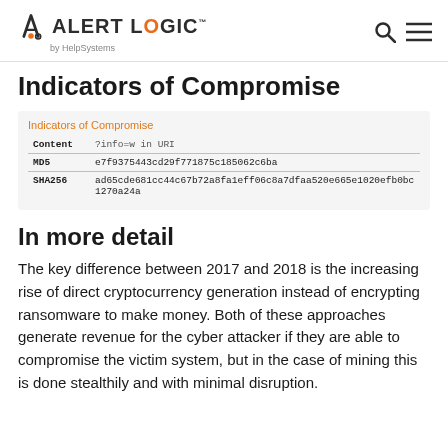Alert Logic by HelpSystems
Indicators of Compromise
|  |  |
| --- | --- |
| Content | ?info=w in URI |
| MD5 | e7f9375443cd29f771875c185062c6ba |
| SHA256 | ad65cde681cc44c67b72a8fa1eff06c8a7dfaa520e665e1020efb0bc1270a24a |
In more detail
The key difference between 2017 and 2018 is the increasing rise of direct cryptocurrency generation instead of encrypting ransomware to make money. Both of these approaches generate revenue for the cyber attacker if they are able to compromise the victim system, but in the case of mining this is done stealthily and with minimal disruption.